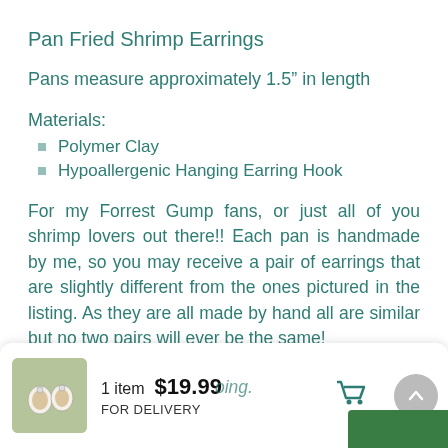Pan Fried Shrimp Earrings
Pans measure approximately 1.5″ in length
Materials:
Polymer Clay
Hypoallergenic Hanging Earring Hook
For my Forrest Gump fans, or just all of you shrimp lovers out there!! Each pan is handmade by me, so you may receive a pair of earrings that are slightly different from the ones pictured in the listing. As they are all made by hand all are similar but no two pairs will ever be the same!
Thanks for checking out my work!
1 item  $19.99  FOR DELIVERY